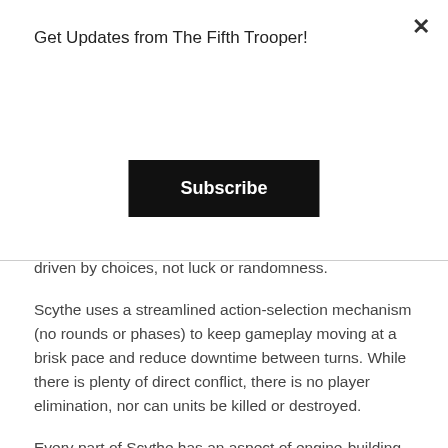Get Updates from The Fifth Trooper!
Subscribe
driven by choices, not luck or randomness.
Scythe uses a streamlined action-selection mechanism (no rounds or phases) to keep gameplay moving at a brisk pace and reduce downtime between turns. While there is plenty of direct conflict, there is no player elimination, nor can units be killed or destroyed.
Every part of Scythe has an aspect of engine-building to it. Players can upgrade actions to become more efficient, build structures that improve their position on the map, enlist new recruits to enhance character abilities, activate mechs to deter opponents from